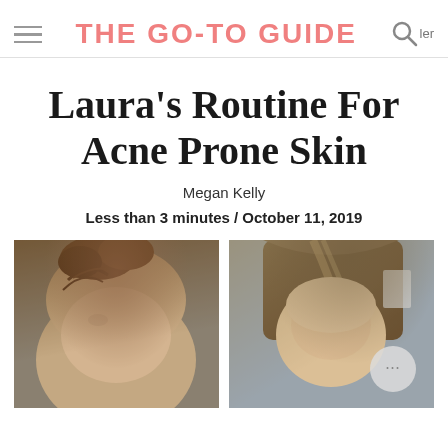THE GO-TO GUIDE
Laura's Routine For Acne Prone Skin
Megan Kelly
Less than 3 minutes / October 11, 2019
[Figure (photo): Two side-by-side photos of a woman's face showing before and after skin routine results]